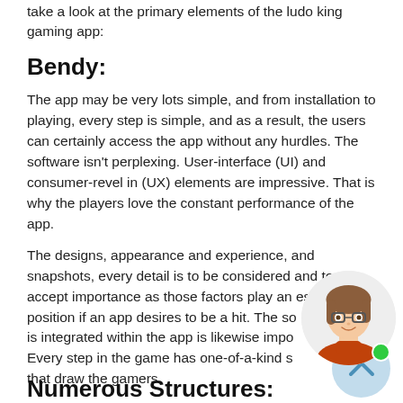take a look at the primary elements of the ludo king gaming app:
Bendy:
The app may be very lots simple, and from installation to playing, every step is simple, and as a result, the users can certainly access the app without any hurdles. The software isn't perplexing. User-interface (UI) and consumer-revel in (UX) elements are impressive. That is why the players love the constant performance of the app.
The designs, appearance and experience, and snapshots, every detail is to be considered and to accept importance as those factors play an essential position if an app desires to be a hit. The so is integrated within the app is likewise impos Every step in the game has one-of-a-kind sc that draw the gamers.
[Figure (illustration): Cartoon avatar of a woman with brown hair and glasses wearing an orange turtleneck, circular portrait with green online indicator dot]
Numerous Structures: